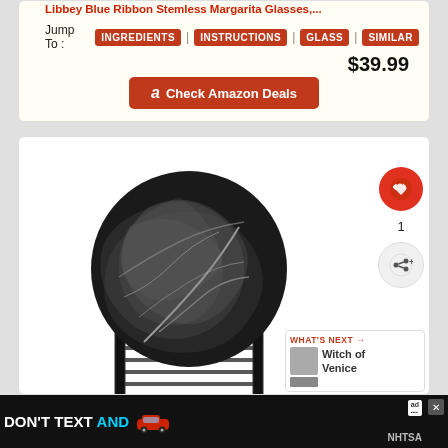Libbey Blue Ribbon Stemless Margarita Glasses,...
Jump To: INGREDIENTS | INSTRUCTIONS | GLASS | SIMILAR
$39.99
Check Amazon Deals
[Figure (photo): Marble-patterned drink coasters with black and white swirl design, stacked in a black metal wire holder frame.]
1
WHAT'S NEXT → Witch of Venice
DON'T TEXT AND [car icon] ad NHTSA